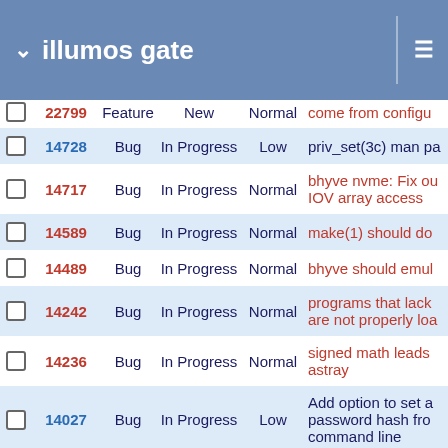illumos gate
|  | # | Type | Status | Priority | Subject |
| --- | --- | --- | --- | --- | --- |
|  | 22799 | Feature | New | Normal | come from configu... |
|  | 14728 | Bug | In Progress | Low | priv_set(3c) man pa... |
|  | 14717 | Bug | In Progress | Normal | bhyve nvme: Fix ou... IOV array access |
|  | 14589 | Bug | In Progress | Normal | make(1) should do... |
|  | 14489 | Bug | In Progress | Normal | bhyve should emul... |
|  | 14242 | Bug | In Progress | Normal | programs that lack... are not properly loa... |
|  | 14236 | Bug | In Progress | Normal | signed math leads... astray |
|  | 14027 | Bug | In Progress | Low | Add option to set a... password hash fro... command line |
|  | 13721 | Bug | In Progress | Normal | ksh: typeset attribu... |